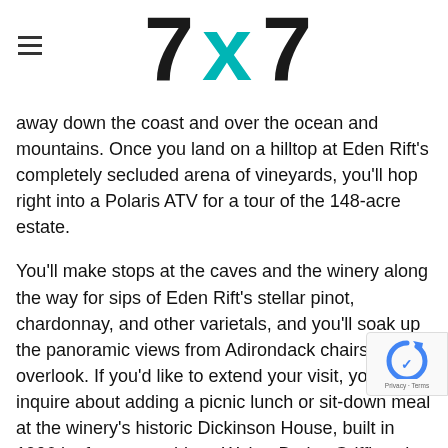7x7 logo with hamburger menu
away down the coast and over the ocean and mountains. Once you land on a hilltop at Eden Rift's completely secluded arena of vineyards, you'll hop right into a Polaris ATV for a tour of the 148-acre estate.
You'll make stops at the caves and the winery along the way for sips of Eden Rift's stellar pinot, chardonnay, and other varietals, and you'll soak up the panoramic views from Adirondack chairs at the overlook. If you'd like to extend your visit, you can inquire about adding a picnic lunch or sit-down meal at the winery's historic Dickinson House, built in 1906 by famous architect Walter Burley Griffin, who worked with Frank Lloyd Wright.
Once finished, the helicopter will whisk you back to